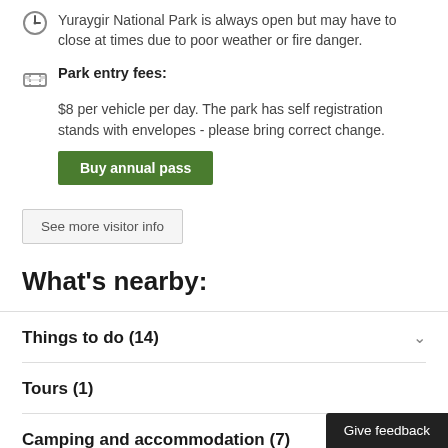Yuraygir National Park is always open but may have to close at times due to poor weather or fire danger.
Park entry fees:
$8 per vehicle per day. The park has self registration stands with envelopes - please bring correct change.
Buy annual pass
See more visitor info
What's nearby:
Things to do (14)
Tours (1)
Camping and accommodation (7)
Give feedback